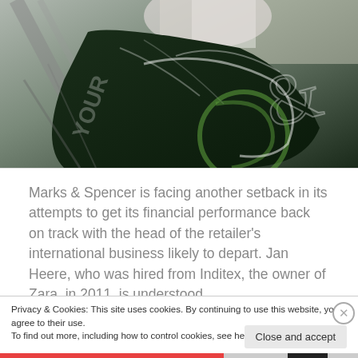[Figure (photo): Person holding large dark green Marks & Spencer shopping bags on an escalator in a shopping centre]
Marks & Spencer is facing another setback in its attempts to get its financial performance back on track with the head of the retailer's international business likely to depart. Jan Heere, who was hired from Inditex, the owner of Zara, in 2011, is understood
Privacy & Cookies: This site uses cookies. By continuing to use this website, you agree to their use.
To find out more, including how to control cookies, see here: Cookie Policy
Close and accept